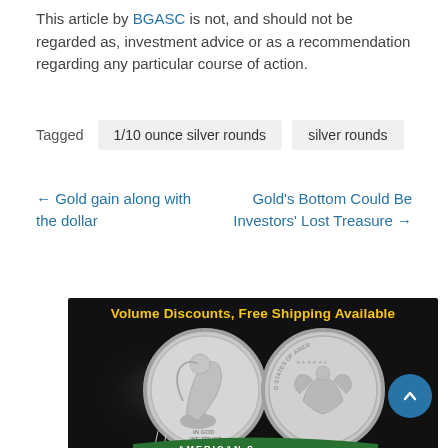This article by BGASC is not, and should not be regarded as, investment advice or as a recommendation regarding any particular course of action.
Tagged   1/10 ounce silver rounds   silver rounds
← Gold gain along with the dollar
Gold's Bottom Could Be Investors' Lost Treasure →
[Figure (photo): Advertisement banner with dark background showing two American Silver Eagle coins side by side, with text 'Volume Discounts, Free Shipping Available' in yellow at top and 'AMERICAN S...' green banner at bottom.]